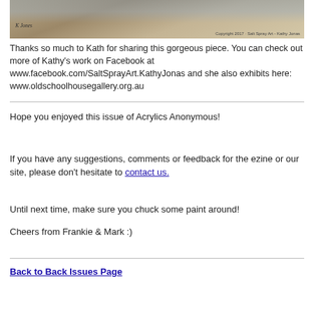[Figure (photo): Painting artwork image with artist signature 'K Jones' on lower left and copyright text 'Copyright 2017 · Salt Spray Art - Kathy Jonas' on lower right.]
Thanks so much to Kath for sharing this gorgeous piece. You can check out more of Kathy's work on Facebook at www.facebook.com/SaltSprayArt.KathyJonas and she also exhibits here: www.oldschoolhousegallery.org.au
Hope you enjoyed this issue of Acrylics Anonymous!
If you have any suggestions, comments or feedback for the ezine or our site, please don't hesitate to contact us.
Until next time, make sure you chuck some paint around!
Cheers from Frankie & Mark :)
Back to Back Issues Page